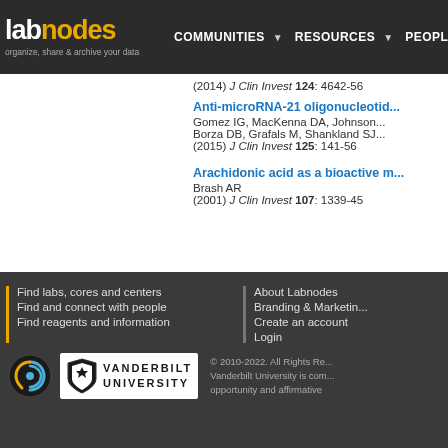labnodes | organize, share & archive your data | COMMUNITIES | RESOURCES | PEOPLE
(2014) J Clin Invest 124: 4642-56
Anti-microRNA-21 oligonucleotid...
Gomez IG, MacKenna DA, Johnson...
Borza DB, Grafals M, Shankland SJ...
(2015) J Clin Invest 125: 141-56
Arachidonic acid as a bioactive m...
Brash AR
(2001) J Clin Invest 107: 1339-45
Find labs, cores and centers | Find and connect with people | Find reagents and information | About Labnodes | Branding & Marketing | Create an account | Login | © 2010-2022. All Rights Re... | Vanderbilt University is com... | opportunity and affirmative